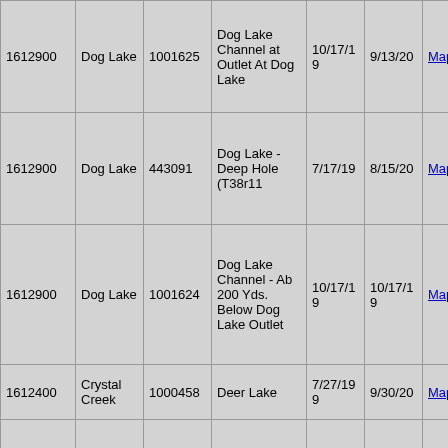| 1612900 | Dog Lake | 1001625 | Dog Lake Channel at Outlet At Dog Lake | 10/17/19 | 9/13/20 | Map | Data |
| 1612900 | Dog Lake | 443091 | Dog Lake - Deep Hole (T38r11 | 7/17/19 | 8/15/20 | Map | Data |
| 1612900 | Dog Lake | 1001624 | Dog Lake Channel - Ab 200 Yds. Below Dog Lake Outlet | 10/17/19 | 10/17/19 | Map | Data |
| 1612400 | Crystal Creek | 1000458 | Deer Lake | 7/27/199 | 9/30/20 | Map | Data |
|  |  |  |  |  |  |  |  |